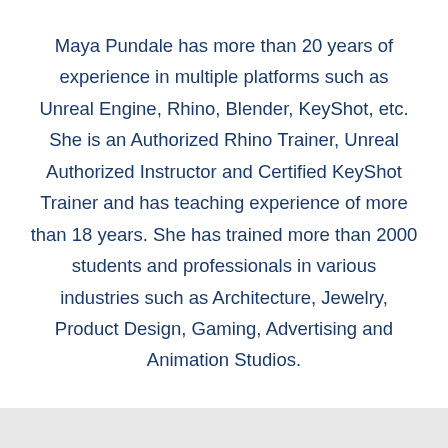Maya Pundale has more than 20 years of experience in multiple platforms such as Unreal Engine, Rhino, Blender, KeyShot, etc. She is an Authorized Rhino Trainer, Unreal Authorized Instructor and Certified KeyShot Trainer and has teaching experience of more than 18 years. She has trained more than 2000 students and professionals in various industries such as Architecture, Jewelry, Product Design, Gaming, Advertising and Animation Studios.